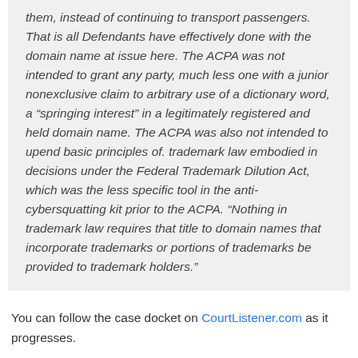them, instead of continuing to transport passengers. That is all Defendants have effectively done with the domain name at issue here. The ACPA was not intended to grant any party, much less one with a junior nonexclusive claim to arbitrary use of a dictionary word, a “springing interest” in a legitimately registered and held domain name. The ACPA was also not intended to upend basic principles of. trademark law embodied in decisions under the Federal Trademark Dilution Act, which was the less specific tool in the anti-cybersquatting kit prior to the ACPA. “Nothing in trademark law requires that title to domain names that incorporate trademarks or portions of trademarks be provided to trademark holders.”
You can follow the case docket on CourtListener.com as it progresses.